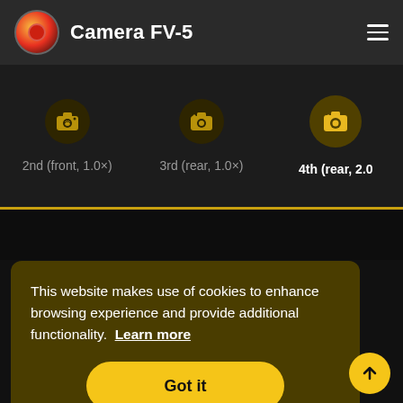Camera FV-5
[Figure (screenshot): Camera selector strip showing three camera options: 2nd (front, 1.0×), 3rd (rear, 1.0×), 4th (rear, 2.0×) — the last is highlighted/active with a yellow camera icon on darker circle background.]
This website makes use of cookies to enhance browsing experience and provide additional functionality. Learn more
Got it